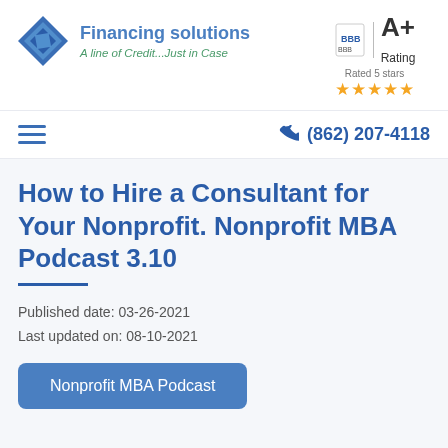[Figure (logo): Financing Solutions logo with blue diamond shape and company name]
[Figure (logo): BBB A+ Rating badge with 5 gold stars]
[Figure (other): Hamburger menu icon (three horizontal lines)]
(862) 207-4118
How to Hire a Consultant for Your Nonprofit. Nonprofit MBA Podcast 3.10
Published date: 03-26-2021
Last updated on: 08-10-2021
Nonprofit MBA Podcast